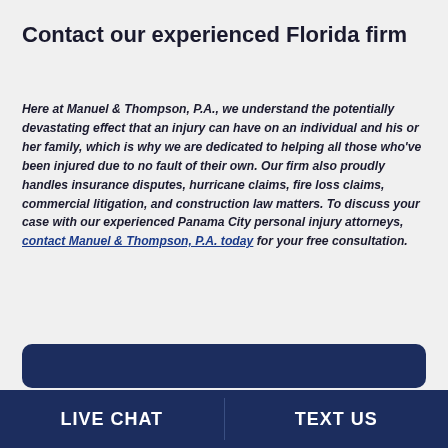Contact our experienced Florida firm
Here at Manuel & Thompson, P.A., we understand the potentially devastating effect that an injury can have on an individual and his or her family, which is why we are dedicated to helping all those who've been injured due to no fault of their own. Our firm also proudly handles insurance disputes, hurricane claims, fire loss claims, commercial litigation, and construction law matters. To discuss your case with our experienced Panama City personal injury attorneys, contact Manuel & Thompson, P.A. today for your free consultation.
[Figure (other): Dark navy rounded rectangle button area]
LIVE CHAT   TEXT US